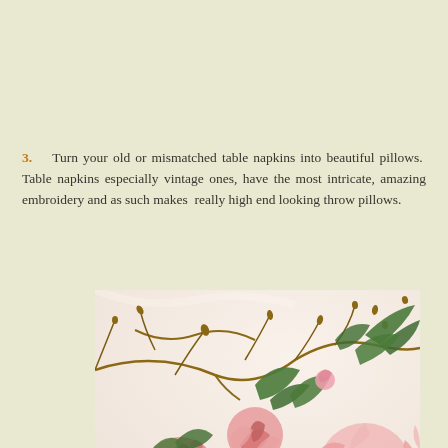3.   Turn your old or mismatched table napkins into beautiful pillows.  Table napkins especially vintage ones, have the most intricate, amazing embroidery and as such makes  really high end looking throw pillows.
[Figure (photo): Close-up photograph of intricate floral embroidery on fabric, showing pink roses and wildflowers with green leaves and brown branches on a cream/white background.]